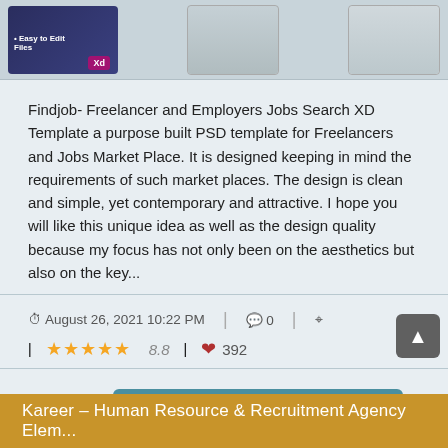[Figure (screenshot): Preview thumbnails of Findjob template showing dark blue cover with Easy to Edit Files text and XD badge, plus two lighter UI screenshots]
Findjob- Freelancer and Employers Jobs Search XD Template a purpose built PSD template for Freelancers and Jobs Market Place. It is designed keeping in mind the requirements of such market places. The design is clean and simple, yet contemporary and attractive. I hope you will like this unique idea as well as the design quality because my focus has not only been on the aesthetics but also on the key...
August 26, 2021 10:22 PM   0
★★★★★ 8.8   ♥ 392
FREE
Login to download 🔒
Kareer – Human Resource & Recruitment Agency Elem...